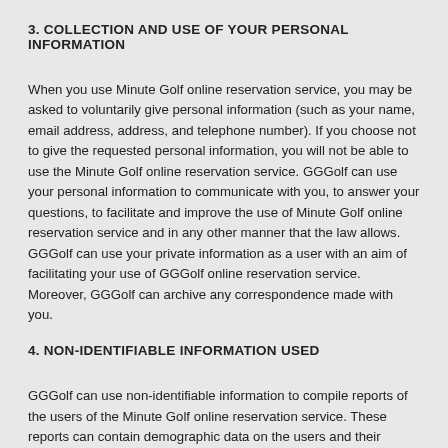3. COLLECTION AND USE OF YOUR PERSONAL INFORMATION
When you use Minute Golf online reservation service, you may be asked to voluntarily give personal information (such as your name, email address, address, and telephone number). If you choose not to give the requested personal information, you will not be able to use the Minute Golf online reservation service. GGGolf can use your personal information to communicate with you, to answer your questions, to facilitate and improve the use of Minute Golf online reservation service and in any other manner that the law allows. GGGolf can use your private information as a user with an aim of facilitating your use of GGGolf online reservation service. Moreover, GGGolf can archive any correspondence made with you.
4. NON-IDENTIFIABLE INFORMATION USED
GGGolf can use non-identifiable information to compile reports of the users of the Minute Golf online reservation service. These reports can contain demographic data on the users and their